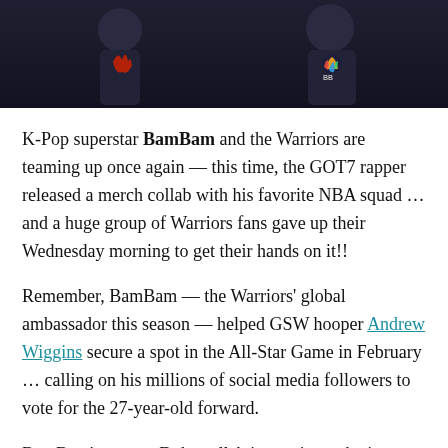[Figure (photo): Two people wearing dark/black Warriors-branded merchandise against a dark background, with a colorful Warriors logo visible on one shirt and 'BB' branding on another.]
K-Pop superstar BamBam and the Warriors are teaming up once again — this time, the GOT7 rapper released a merch collab with his favorite NBA squad … and a huge group of Warriors fans gave up their Wednesday morning to get their hands on it!!
Remember, BamBam — the Warriors' global ambassador this season — helped GSW hooper Andrew Wiggins secure a spot in the All-Star Game in February … calling on his millions of social media followers to vote for the 27-year-old forward.
BamBam's newest Dubs collab is proving to be just as successful … with a long line forming outside the Chase